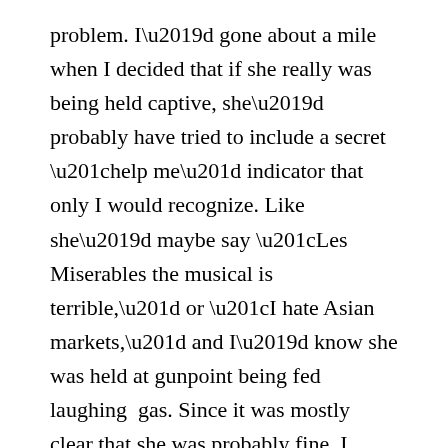problem. I’d gone about a mile when I decided that if she really was being held captive, she’d probably have tried to include a secret “help me” indicator that only I would recognize. Like she’d maybe say “Les Miserables the musical is terrible,” or “I hate Asian markets,” and I’d know she was held at gunpoint being fed laughing gas. Since it was mostly clear that she was probably fine, I decided to give in and let her win this competition of will.
Me: Did we talk about these brown shoes? Remind me?
Joan: We didn’t. I actually just found these in my attic… someone left the poor babes in there to die!!
This is why I love my sister. She is so down to earth,